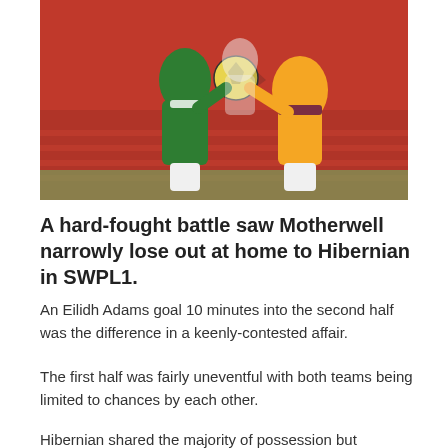[Figure (photo): Two female football players competing for the ball — one in green (Hibernian), one in orange and maroon (Motherwell) — with red stadium seats in background.]
A hard-fought battle saw Motherwell narrowly lose out at home to Hibernian in SWPL1.
An Eilidh Adams goal 10 minutes into the second half was the difference in a keenly-contested affair.
The first half was fairly uneventful with both teams being limited to chances by each other.
Hibernian shared the majority of possession but